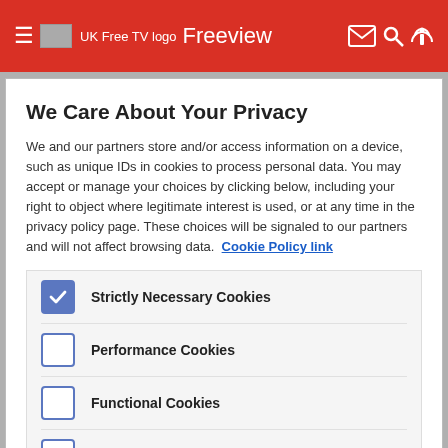UK Free TV logo  Freeview
We Care About Your Privacy
We and our partners store and/or access information on a device, such as unique IDs in cookies to process personal data. You may accept or manage your choices by clicking below, including your right to object where legitimate interest is used, or at any time in the privacy policy page. These choices will be signaled to our partners and will not affect browsing data. Cookie Policy link
Strictly Necessary Cookies (checked)
Performance Cookies (unchecked)
Functional Cookies (unchecked)
Targeting Cookies (unchecked)
List of Partners (vendors)